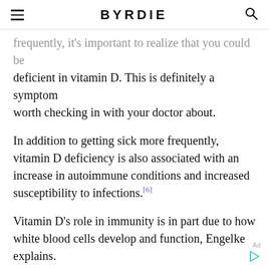BYRDIE
frequently, it's important to realize that you could be deficient in vitamin D. This is definitely a symptom worth checking in with your doctor about.
In addition to getting sick more frequently, vitamin D deficiency is also associated with an increase in autoimmune conditions and increased susceptibility to infections.[6]
Vitamin D's role in immunity is in part due to how white blood cells develop and function, Engelke explains.